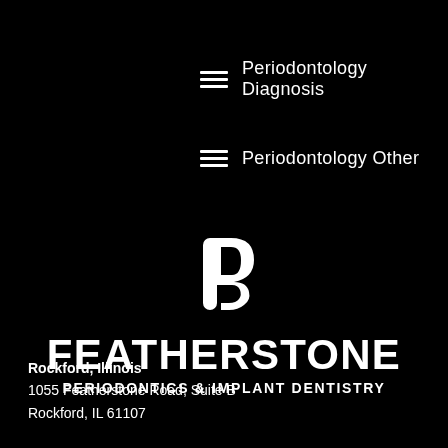Periodontology Diagnosis
Periodontology Other
[Figure (logo): Featherstone Periodontics & Implant Dentistry logo — white stylized F/P monogram on black background, with text FEATHERSTONE and PERIODONTICS & IMPLANT DENTISTRY]
Rockford, Illinois
1055 Featherstone Road, Suite B
Rockford, IL 61107